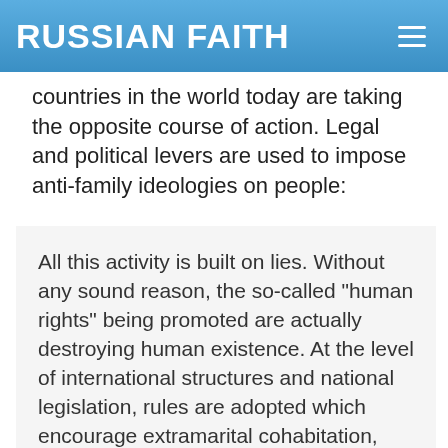RUSSIAN FAITH
countries in the world today are taking the opposite course of action. Legal and political levers are used to impose anti-family ideologies on people:
All this activity is built on lies. Without any sound reason, the so-called "human rights" being promoted are actually destroying human existence. At the level of international structures and national legislation, rules are adopted which encourage extramarital cohabitation, divorce, abortion, gender ideology, surrogate motherhood, all kinds of sexual promiscuity